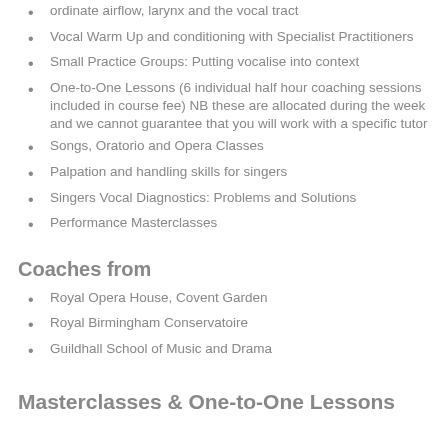ordinate airflow, larynx and the vocal tract
Vocal Warm Up and conditioning with Specialist Practitioners
Small Practice Groups: Putting vocalise into context
One-to-One Lessons (6 individual half hour coaching sessions included in course fee) NB these are allocated during the week and we cannot guarantee that you will work with a specific tutor
Songs, Oratorio and Opera Classes
Palpation and handling skills for singers
Singers Vocal Diagnostics: Problems and Solutions
Performance Masterclasses
Coaches from
Royal Opera House, Covent Garden
Royal Birmingham Conservatoire
Guildhall School of Music and Drama
Masterclasses & One-to-One Lessons